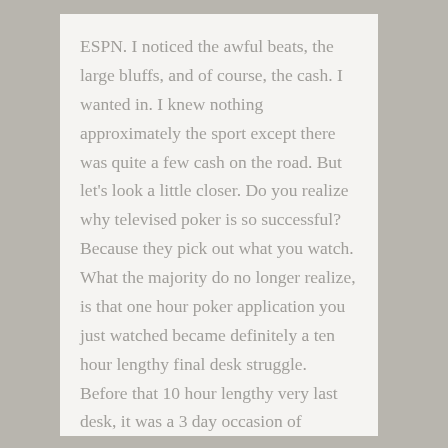ESPN. I noticed the awful beats, the large bluffs, and of course, the cash. I wanted in. I knew nothing approximately the sport except there was quite a few cash on the road. But let's look a little closer. Do you realize why televised poker is so successful? Because they pick out what you watch. What the majority do no longer realize, is that one hour poker application you just watched became definitely a ten hour lengthy final desk struggle. Before that 10 hour lengthy very last desk, it was a 3 day occasion of hundreds (once in a while heaps) of humans playing for 10-12 hours every day. Now, after announcing that recollect this. Remember I said they choose what you watch? Well, they select to reveal you the maximum thrilling